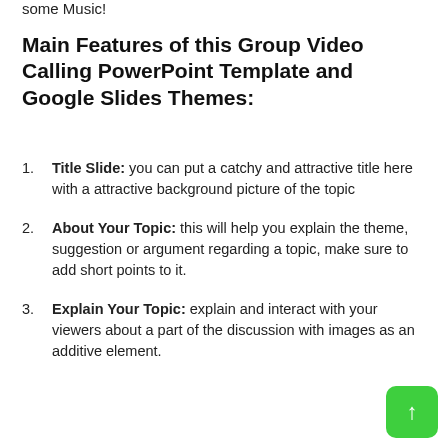some Music!
Main Features of this Group Video Calling PowerPoint Template and Google Slides Themes:
Title Slide: you can put a catchy and attractive title here with a attractive background picture of the topic
About Your Topic: this will help you explain the theme, suggestion or argument regarding a topic, make sure to add short points to it.
Explain Your Topic: explain and interact with your viewers about a part of the discussion with images as an additive element.